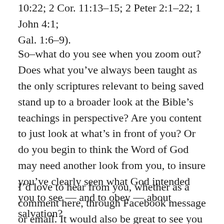10:22; 2 Cor. 11:13-15; 2 Peter 2:1-22; 1 John 4:1; Gal. 1:6-9).
So–what do you see when you zoom out? Does what you've always been taught as the only scriptures relevant to being saved stand up to a broader look at the Bible's teachings in perspective? Are you content to just look at what's in front of you? Or do you begin to think the Word of God may need another look from you, to insure you've clearly seen what God intended you to see — and to obey — about salvation?
I'd love to hear from you, whether as a comment here, through Facebook message or email. It would also be great to see you in